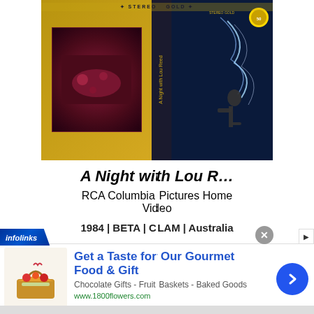[Figure (photo): VHS cassette cover for 'A Night with Lou R...' in gold/dark colors showing a guitarist silhouette]
A Night with Lou R…
RCA Columbia Pictures Home Video
1984 | BETA | CLAM | Australia
[Figure (photo): VHS cassette cover for 'A Simple Introduction to Musical Instruments' in purple/gold colors with illustrated figures]
[Figure (photo): Advertisement banner: 'Get a Taste for Our Gourmet Food & Gift' from 1800flowers.com with basket image]